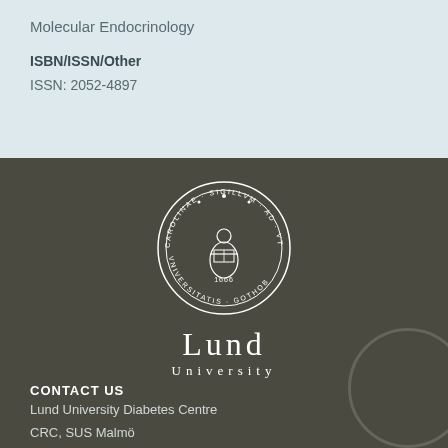Molecular Endocrinology
ISBN/ISSN/Other
ISSN: 2052-4897
[Figure (logo): Lund University seal/crest logo, circular medallion with figure, surrounded by text CAROLINAE SIGILLVM AD YTRVMQVE VNIVERSITATIS GOTHOBVRGORVM 1666, with LUND UNIVERSITY text below]
CONTACT US
Lund University Diabetes Centre
CRC, SUS Malmö